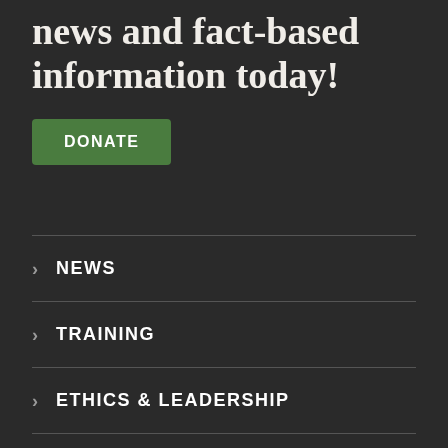news and fact-based information today!
DONATE
> NEWS
> TRAINING
> ETHICS & LEADERSHIP